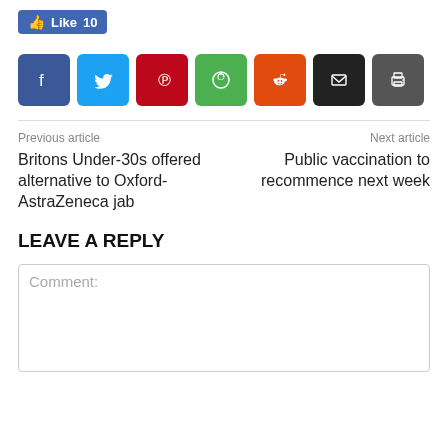[Figure (other): Like button showing thumbs up icon and count 10, blue background]
[Figure (other): Social share icons row: Facebook (blue), Twitter (cyan), Pinterest (red), WhatsApp (green), Reddit (orange), Email (black), Print (dark gray)]
Previous article
Next article
Britons Under-30s offered alternative to Oxford-AstraZeneca jab
Public vaccination to recommence next week
LEAVE A REPLY
Comment: